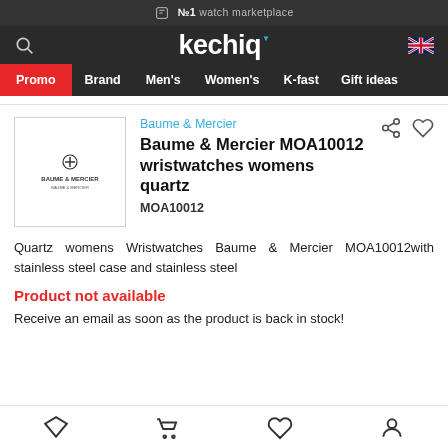№1 watch marketplace
[Figure (logo): Kechiq watch marketplace logo with navigation: search icon, Kechiq wordmark, UK flag icon]
Promo  Brand  Men's  Women's  K-fast  Gift ideas
[Figure (photo): Baume & Mercier product thumbnail showing brand logo]
Baume & Mercier
Baume & Mercier MOA10012 wristwatches womens quartz
MOA10012
Quartz womens Wristwatches Baume & Mercier MOA10012with stainless steel case and stainless steel
Product not available
Receive an email as soon as the product is back in stock!